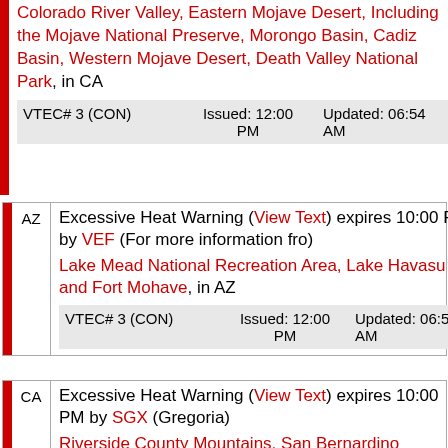Colorado River Valley, Eastern Mojave Desert, Including the Mojave National Preserve, Morongo Basin, Cadiz Basin, Western Mojave Desert, Death Valley National Park, in CA
| VTEC# | Issued | Updated |
| --- | --- | --- |
| VTEC# 3 (CON) | Issued: 12:00 PM | Updated: 06:54 AM |
Excessive Heat Warning (View Text) expires 10:00 PM by VEF (For more information fro)
Lake Mead National Recreation Area, Lake Havasu and Fort Mohave, in AZ
| VTEC# | Issued | Updated |
| --- | --- | --- |
| VTEC# 3 (CON) | Issued: 12:00 PM | Updated: 06:54 AM |
Excessive Heat Warning (View Text) expires 10:00 PM by SGX (Gregoria)
Riverside County Mountains, San Bernardino County Mountains, San Diego County Deserts, Coachella Valley, Santa Ana Mountains, ...